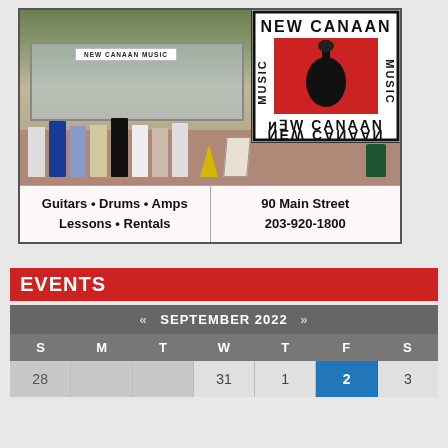[Figure (photo): Storefront photo of New Canaan Music store with group of people standing outside. New Canaan Music logo in top right corner of photo.]
Guitars • Drums • Amps
Lessons • Rentals
90 Main Street
203-920-1800
EVENTS
| S | M | T | W | T | F | S |
| --- | --- | --- | --- | --- | --- | --- |
| 28 |  |  | 31 | 1 | 2 | 3 |